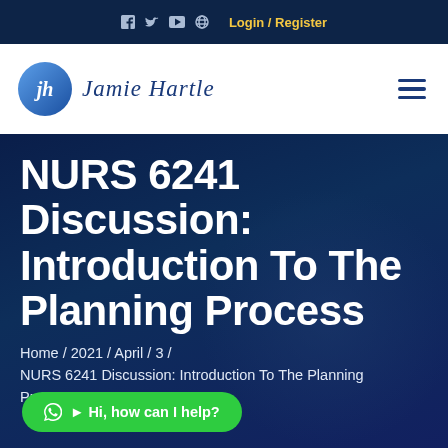f  Twitter  YouTube  globe  Login / Register
[Figure (logo): Jamie Hartle logo with circular blue gradient emblem and stylized JH monogram, followed by cursive text 'Jamie Hartle']
NURS 6241 Discussion: Introduction To The Planning Process
Home / 2021 / April / 3 / NURS 6241 Discussion: Introduction To The Planning Process
Hi, how can I help?